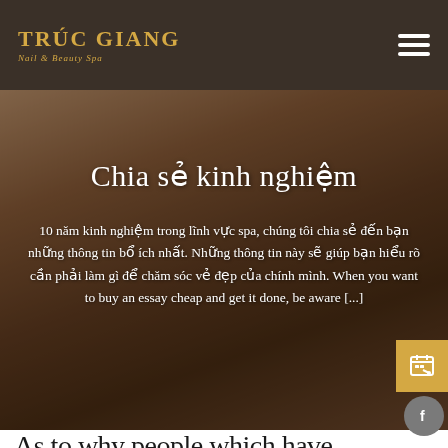TRÚC GIANG Nail & Beauty Spa
Chia sẻ kinh nghiệm
10 năm kinh nghiệm trong lĩnh vực spa, chúng tôi chia sẻ đến bạn những thông tin bổ ích nhất. Những thông tin này sẽ giúp bạn hiểu rõ cần phải làm gì để chăm sóc vẻ đẹp của chính mình. When you want to buy an essay cheap and get it done, be aware [...]
As to why people which have